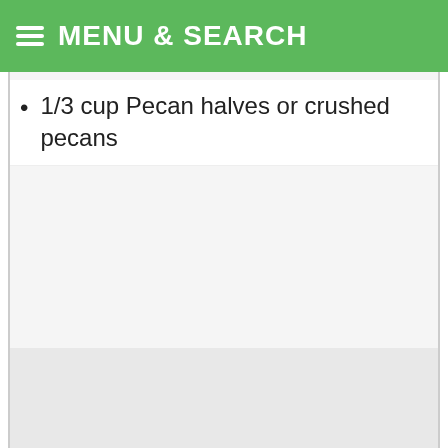MENU & SEARCH
1/3 cup Pecan halves or crushed pecans
We use cookies on our website to give you the most relevant experience by remembering your preferences and repeat visits. By clicking “Accept”, you consent to the use of ALL the cookies.
Do not sell my personal information
Cookie Settings    Accept